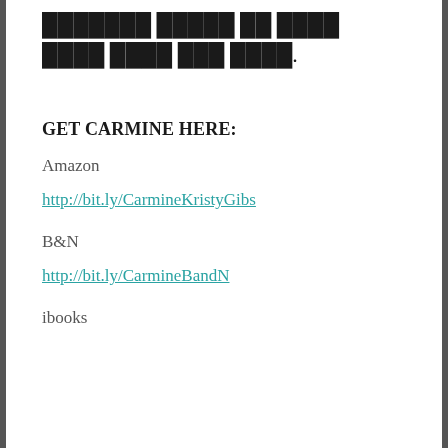░░░░░░░ ░░░░░ ░░ ░░░░ ░░░░ ░░░░ ░░░ ░░░░.
GET CARMINE HERE:
Amazon
http://bit.ly/CarmineKristyGibs
B&N
http://bit.ly/CarmineBandN
ibooks